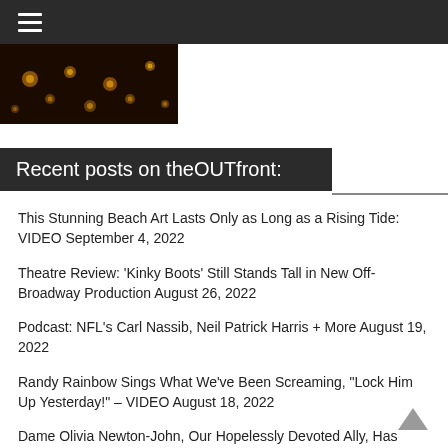≡
[Figure (photo): Dark bokeh photo with golden light spots on a dark brown background]
Recent posts on theOUTfront:
This Stunning Beach Art Lasts Only as Long as a Rising Tide: VIDEO September 4, 2022
Theatre Review: 'Kinky Boots' Still Stands Tall in New Off-Broadway Production August 26, 2022
Podcast: NFL's Carl Nassib, Neil Patrick Harris + More August 19, 2022
Randy Rainbow Sings What We've Been Screaming, "Lock Him Up Yesterday!" – VIDEO August 18, 2022
Dame Olivia Newton-John, Our Hopelessly Devoted Ally, Has Passed Away At 73 August 8, 2022